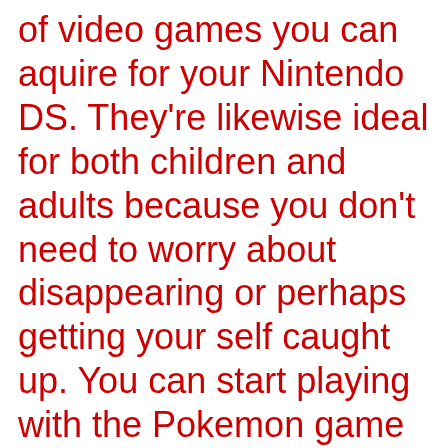of video games you can aquire for your Nintendo DS. They're likewise ideal for both children and adults because you don't need to worry about disappearing or perhaps getting your self caught up. You can start playing with the Pokemon game titles that you like right away, yet you are contemplating some thing more tough, you can kit another one of the types of video games that...